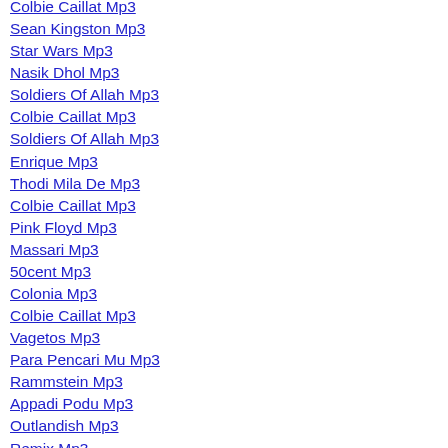Colbie Caillat Mp3
Sean Kingston Mp3
Star Wars Mp3
Nasik Dhol Mp3
Soldiers Of Allah Mp3
Colbie Caillat Mp3
Soldiers Of Allah Mp3
Enrique Mp3
Thodi Mila De Mp3
Colbie Caillat Mp3
Pink Floyd Mp3
Massari Mp3
50cent Mp3
Colonia Mp3
Colbie Caillat Mp3
Vagetos Mp3
Para Pencari Mu Mp3
Rammstein Mp3
Appadi Podu Mp3
Outlandish Mp3
Remix Mp3
Justin Timberlake Mp3
Beautiful Girls Mp3
E Type Mp3
Hillsong Mp3
Colbie Caillat Mp3